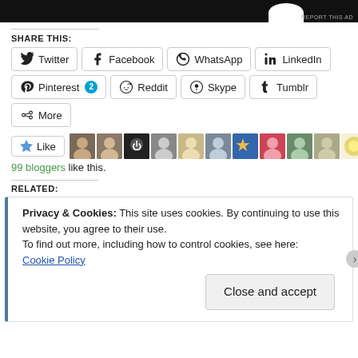[Figure (screenshot): Black ad banner at top with white circular shape, 'REPORT THIS AD' text]
SHARE THIS:
Twitter | Facebook | WhatsApp | LinkedIn | Pinterest 2 | Reddit | Skype | Tumblr | More
Like — 99 bloggers like this. [avatars shown]
RELATED:
Privacy & Cookies: This site uses cookies. By continuing to use this website, you agree to their use.
To find out more, including how to control cookies, see here:
Cookie Policy
Close and accept